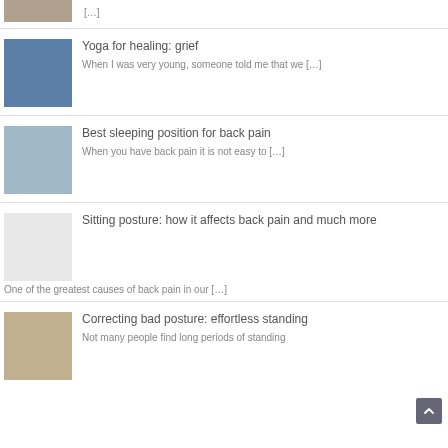[Figure (photo): Partial image of a person at top of page]
[…]
[Figure (photo): Person sitting by a window, viewed from behind, wrapped in a light cloth]
Yoga for healing: grief
When I was very young, someone told me that we […]
[Figure (photo): Blue pillows and bedding on a bed]
Best sleeping position for back pain
When you have back pain it is not easy to […]
[Figure (photo): Boy sitting at a desk using a laptop computer]
Sitting posture: how it affects back pain and much more
One of the greatest causes of back pain in our […]
[Figure (photo): Royal guard standing in archway with street lamp]
Correcting bad posture: effortless standing
Not many people find long periods of standing